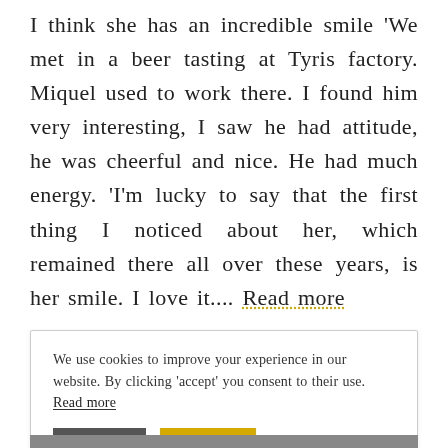I think she has an incredible smile 'We met in a beer tasting at Tyris factory. Miquel used to work there. I found him very interesting, I saw he had attitude, he was cheerful and nice. He had much energy. 'I'm lucky to say that the first thing I noticed about her, which remained there all over these years, is her smile. I love it.... Read more
LEAVE A NOTE · 0 COMMENTS
We use cookies to improve your experience in our website. By clicking 'accept' you consent to their use. Read more
Reject Accept